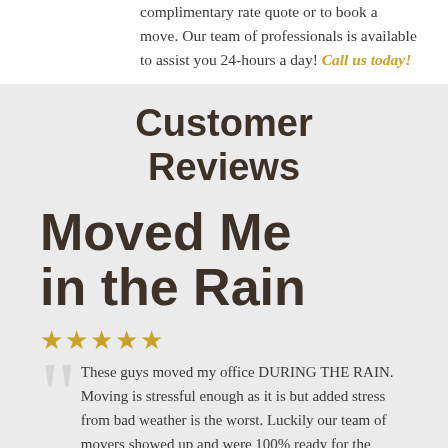complimentary rate quote or to book a move. Our team of professionals is available to assist you 24-hours a day! Call us today!
Customer Reviews
Moved Me in the Rain
★★★★★
These guys moved my office DURING THE RAIN. Moving is stressful enough as it is but added stress from bad weather is the worst. Luckily our team of movers showed up and were 100% ready for the challenge. They were professionals and the care they took wrapping and transporting everything